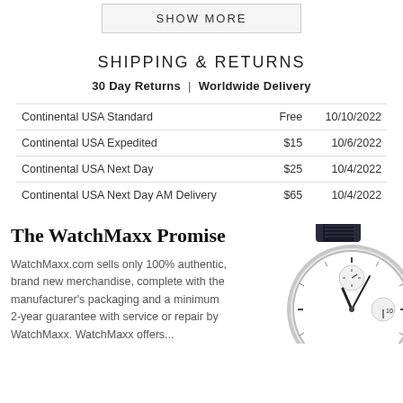SHOW MORE
SHIPPING & RETURNS
30 Day Returns  |  Worldwide Delivery
|  |  |  |
| --- | --- | --- |
| Continental USA Standard | Free | 10/10/2022 |
| Continental USA Expedited | $15 | 10/6/2022 |
| Continental USA Next Day | $25 | 10/4/2022 |
| Continental USA Next Day AM Delivery | $65 | 10/4/2022 |
The WatchMaxx Promise
WatchMaxx.com sells only 100% authentic, brand new merchandise, complete with the manufacturer's packaging and a minimum 2-year guarantee with service or repair by WatchMaxx. WatchMaxx offers...
[Figure (photo): Partial view of a luxury watch with white dial, silver case, and dark leather strap, showing chronograph subdials]